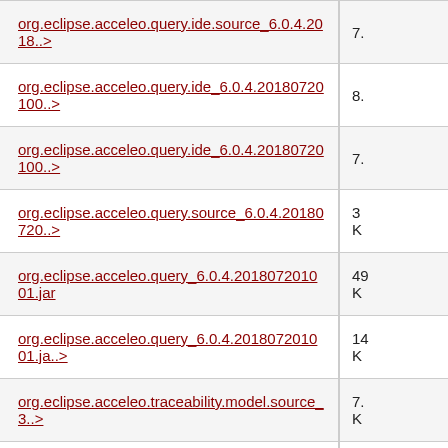| Name | Size |
| --- | --- |
| org.eclipse.acceleo.query.ide.source_6.0.4.2018..> | 7. |
| org.eclipse.acceleo.query.ide_6.0.4.20180720100..> | 8. |
| org.eclipse.acceleo.query.ide_6.0.4.20180720100..> | 7. |
| org.eclipse.acceleo.query.source_6.0.4.20180720..> | 3 K |
| org.eclipse.acceleo.query_6.0.4.201807201001.jar | 49 K |
| org.eclipse.acceleo.query_6.0.4.201807201001.ja..> | 14 K |
| org.eclipse.acceleo.traceability.model.source_3..> | 7. K |
| org.eclipse.acceleo.traceability.model_3.7.3.20..> | 9. |